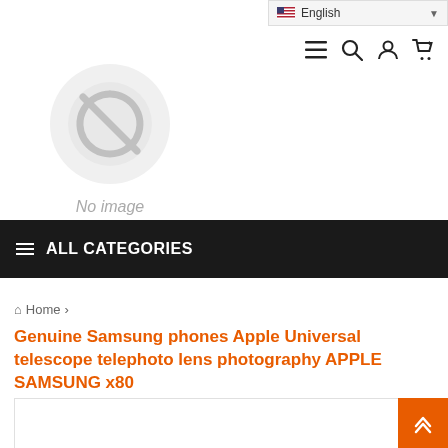English (language selector)
[Figure (screenshot): No image placeholder with circular icon and 'No image' text]
ALL CATEGORIES
Home >
Genuine Samsung phones Apple Universal telescope telephoto lens photography APPLE SAMSUNG x80